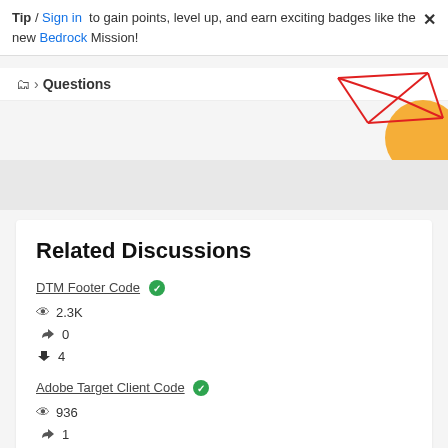Tip / Sign in to gain points, level up, and earn exciting badges like the new Bedrock Mission!
Questions
[Figure (illustration): Decorative geometric pattern with red lines forming a polyhedron shape and an orange circle, top right corner]
Related Discussions
DTM Footer Code [answered] — 2.3K views, 0 likes, 4 replies
Adobe Target Client Code [answered] — 936 views, 1 like